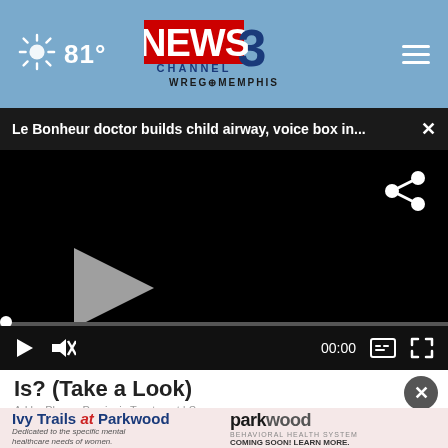[Figure (screenshot): WREG News Channel 3 Memphis website header with weather (sun icon, 81°), centered NEWS3 CHANNEL WREG MEMPHIS logo, and hamburger menu icon on steel blue background]
Le Bonheur doctor builds child airway, voice box in...
[Figure (screenshot): Black video player with share icon, play button triangle, progress bar, play/mute/time (00:00)/captions/fullscreen controls]
Is? (Take a Look)
Ad by Plaque Psoriasis Treatment | S
[Figure (logo): Ivy Trails at Parkwood advertisement with parkwood behavioral health system logo and 'Coming Soon! Learn More.']